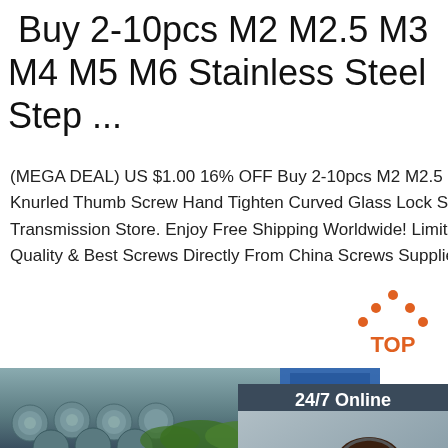Buy 2-10pcs M2 M2.5 M3 M4 M5 M6 Stainless Steel Step ...
(MEGA DEAL) US $1.00 16% OFF Buy 2-10pcs M2 M2.5 M3 M4 M5 M6 Stainless Steel Knurled Thumb Screw Hand Tighten Curved Glass Lock Screws From Seller Chang D Transmission Store. Enjoy Free Shipping Worldwide! Limited Time Sale Easy Return. Quality & Best Screws Directly From China Screws Suppliers.
[Figure (screenshot): Sidebar widget with '24/7 Online' header, photo of customer service woman with headset, 'Click here for free chat!' text, and orange QUOTATION button on dark blue/grey background]
Get Price
[Figure (logo): TOP logo with orange dots forming a house/arrow shape above the text TOP in orange]
[Figure (photo): Partial photo of steel rebar/rods in a bundle, viewed from the end, with a blue warehouse structure in background]